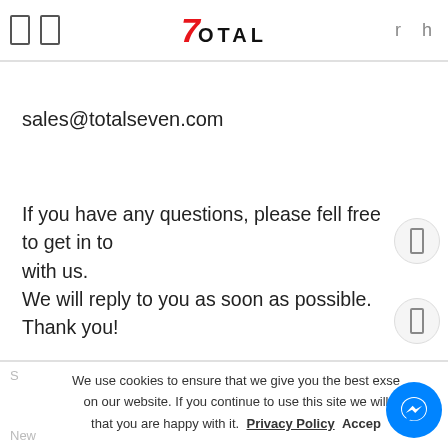7Total - logo header with navigation
sales@totalseven.com
If you have any questions, please fell free to get in touch with us.
We will reply to you as soon as possible. Thank you!
We use cookies to ensure that we give you the best experience on our website. If you continue to use this site we will assume that you are happy with it. Privacy Policy Accept